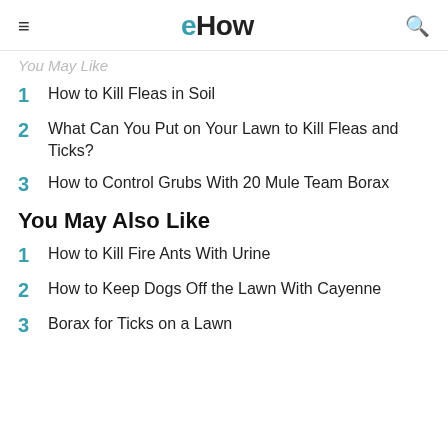eHow
You May Like
1 How to Kill Fleas in Soil
2 What Can You Put on Your Lawn to Kill Fleas and Ticks?
3 How to Control Grubs With 20 Mule Team Borax
You May Also Like
1 How to Kill Fire Ants With Urine
2 How to Keep Dogs Off the Lawn With Cayenne
3 Borax for Ticks on a Lawn